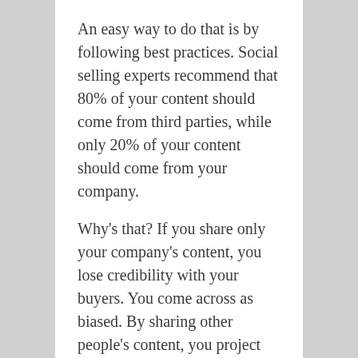An easy way to do that is by following best practices. Social selling experts recommend that 80% of your content should come from third parties, while only 20% of your content should come from your company.
Why's that? If you share only your company's content, you lose credibility with your buyers. You come across as biased. By sharing other people's content, you project expertise, not just blind loyalty to your company.
DON'T link your Twitter and LinkedIn accounts
LinkedIn users have the option of linking their Twitter and LinkedIn